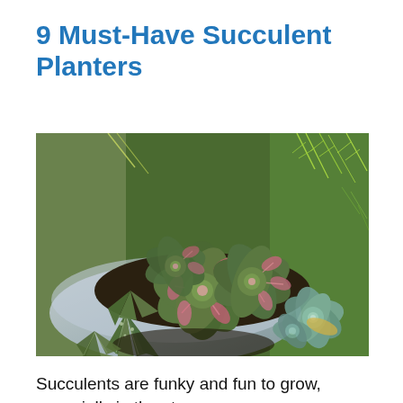9 Must-Have Succulent Planters
[Figure (photo): Close-up photograph of a bowl planter filled with various succulents, including rosette-shaped plants with green and pink-tipped leaves, spiky haworthia-type succulents, and blue-green echeveria. Background shows additional green foliage.]
Succulents are funky and fun to grow, especially in the st...